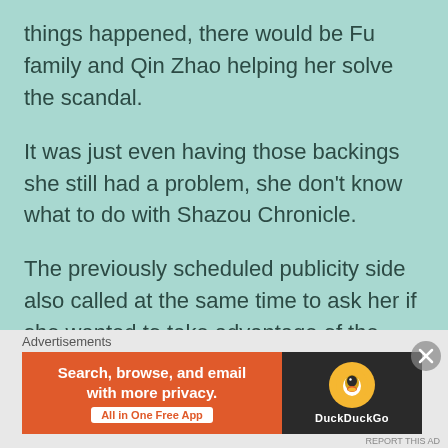things happened, there would be Fu family and Qin Zhao helping her solve the scandal.
It was just even having those backings she still had a problem, she don't know what to do with Shazou Chronicle.
The previously scheduled publicity side also called at the same time to ask her if she wanted to take advantage of the heat while the Shazou Chronicle was being updated.
However. Tang Wanwan was worried that the heat was too hot to rub casually, if she was not careful
Advertisements
[Figure (other): DuckDuckGo advertisement banner: orange left panel with text 'Search, browse, and email with more privacy. All in One Free App', dark right panel with DuckDuckGo duck logo and brand name.]